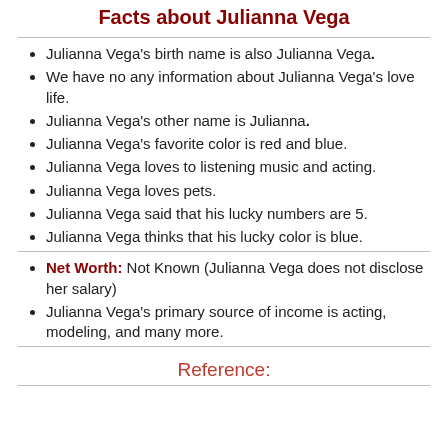Facts about Julianna Vega
Julianna Vega's birth name is also Julianna Vega.
We have no any information about Julianna Vega's love life.
Julianna Vega's other name is Julianna.
Julianna Vega's favorite color is red and blue.
Julianna Vega loves to listening music and acting.
Julianna Vega loves pets.
Julianna Vega said that his lucky numbers are 5.
Julianna Vega thinks that his lucky color is blue.
Net Worth: Not Known (Julianna Vega does not disclose her salary)
Julianna Vega's primary source of income is acting, modeling, and many more.
Reference: